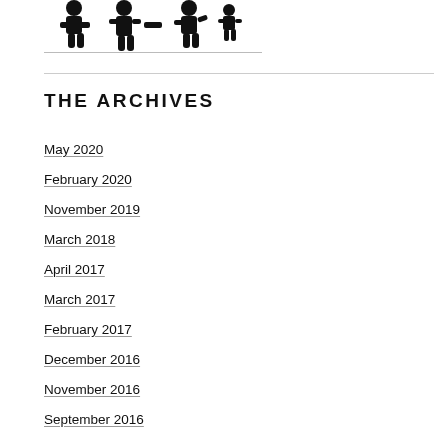[Figure (logo): Black stylized logo/icon showing figures]
THE ARCHIVES
May 2020
February 2020
November 2019
March 2018
April 2017
March 2017
February 2017
December 2016
November 2016
September 2016